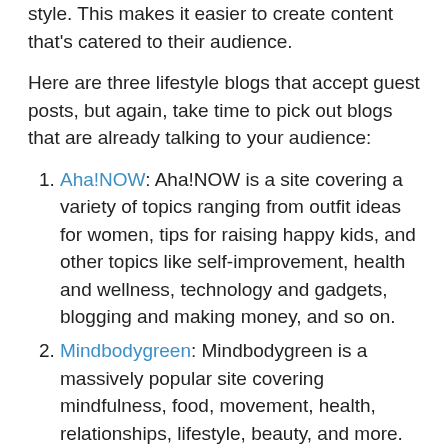style. This makes it easier to create content that's catered to their audience.
Here are three lifestyle blogs that accept guest posts, but again, take time to pick out blogs that are already talking to your audience:
Aha!NOW: Aha!NOW is a site covering a variety of topics ranging from outfit ideas for women, tips for raising happy kids, and other topics like self-improvement, health and wellness, technology and gadgets, blogging and making money, and so on.
Mindbodygreen: Mindbodygreen is a massively popular site covering mindfulness, food, movement, health, relationships, lifestyle, beauty, and more.